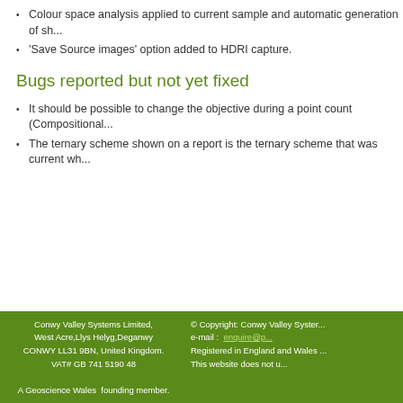Colour space analysis applied to current sample and automatic generation of sh...
'Save Source images' option added to HDRI capture.
Bugs reported but not yet fixed
It should be possible to change the objective during a point count (Compositional...
The ternary scheme shown on a report is the ternary scheme that was current wh...
Conwy Valley Systems Limited, West Acre,Llys Helyg,Deganwy CONWY LL31 9BN, United Kingdom. VAT# GB 741 5190 48 A Geoscience Wales founding member. © Copyright: Conwy Valley Syster... e-mail : enquire@p... Registered in England and Wales ... This website does not u...